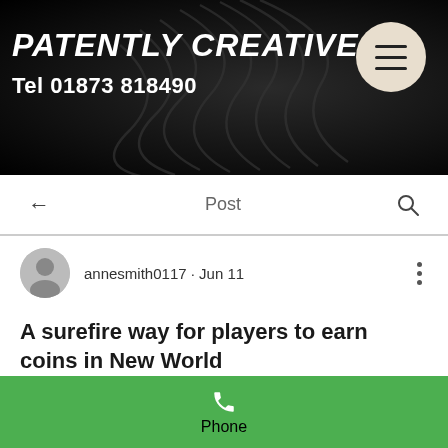[Figure (screenshot): Website header banner with dark background showing swirl/coil design, 'PATENTLY CREATIVE' title in white italic bold text, 'Tel 01873 818490' below, and a beige circular hamburger menu button on the right]
Post
annesmith0117 · Jun 11
A surefire way for players to earn coins in New World
The very nature of the New World economy means that there are few reliable ways to earn gold quickly in this game. There are many times in New World where players need to consider whether the item being crafted is
Phone